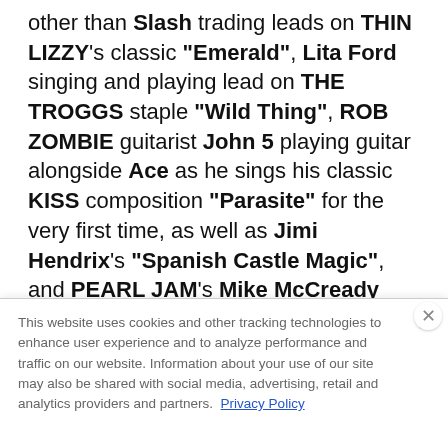other than Slash trading leads on THIN LIZZY's classic "Emerald", Lita Ford singing and playing lead on THE TROGGS staple "Wild Thing", ROB ZOMBIE guitarist John 5 playing guitar alongside Ace as he sings his classic KISS composition "Parasite" for the very first time, as well as Jimi Hendrix's "Spanish Castle Magic", and PEARL JAM's Mike McCready also plays guitar with Ace
This website uses cookies and other tracking technologies to enhance user experience and to analyze performance and traffic on our website. Information about your use of our site may also be shared with social media, advertising, retail and analytics providers and partners. Privacy Policy
[Figure (infographic): Advertisement banner for Carpenter Brut concert. Dark background with red text reading 'CARPENTER BRUT' and subtitle 'SAT. SEPTEMBER 3 • THE FILLMORE SILVER SPRING'. Ghostly figure with skull-like face on right side.]